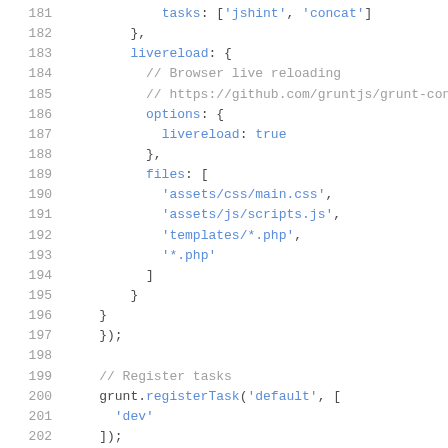Code listing lines 181-202 showing JavaScript/Grunt configuration with livereload options, files array, and registerTask calls.